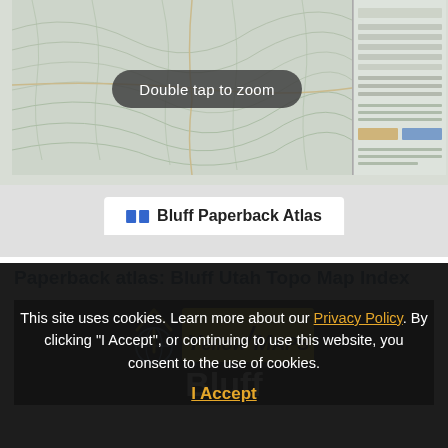[Figure (map): Topographic map preview with 'Double tap to zoom' overlay button, and a map legend panel on the right side]
Bluff Paperback Atlas
Paperback atlas: Bluff Utah Topo Map Index
[Figure (logo): YellowMaps logo on black background with 'Bluff' text below]
This site uses cookies. Learn more about our Privacy Policy. By clicking "I Accept", or continuing to use this website, you consent to the use of cookies.
I Accept